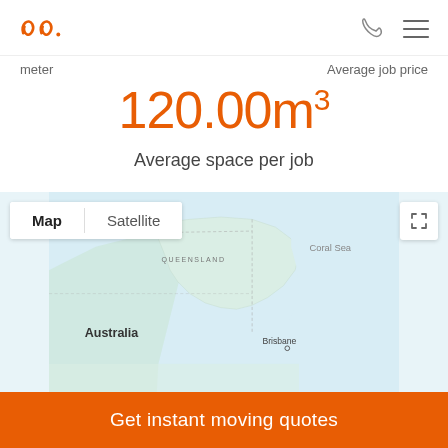[Figure (logo): Oneflare logo in orange]
meter
Average job price
120.00m³
Average space per job
[Figure (map): Interactive map of Australia showing Queensland, Coral Sea, and Brisbane. Map/Satellite toggle and fullscreen button visible.]
Get instant moving quotes